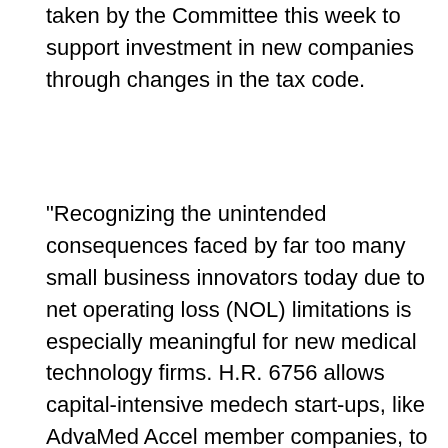taken by the Committee this week to support investment in new companies through changes in the tax code.
"Recognizing the unintended consequences faced by far too many small business innovators today due to net operating loss (NOL) limitations is especially meaningful for new medical technology firms. H.R. 6756 allows capital-intensive medech start-ups, like AdvaMed Accel member companies, to raise multiple rounds of funding without jeopardizing the value of their accumulated net operating losses. This reform will encourage additional investment in innovative medtech companies, which spurs